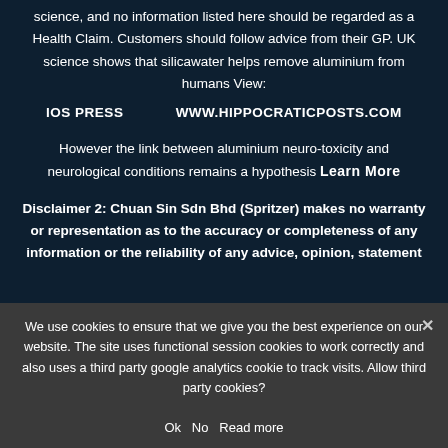science, and no information listed here should be regarded as a Health Claim. Customers should follow advice from their GP. UK science shows that silicawater helps remove aluminium from humans View:
IOS PRESS    WWW.HIPPOCRATICPOSTS.COM
However the link between aluminium neuro-toxicity and neurological conditions remains a hypothesis Learn More
Disclaimer 2: Chuan Sin Sdn Bhd (Spritzer) makes no warranty or representation as to the accuracy or completeness of any information or the reliability of any advice, opinion, statement
We use cookies to ensure that we give you the best experience on our website. The site uses functional session cookies to work correctly and also uses a third party google analytics cookie to track visits. Allow third party cookies?
Ok  No  Read more